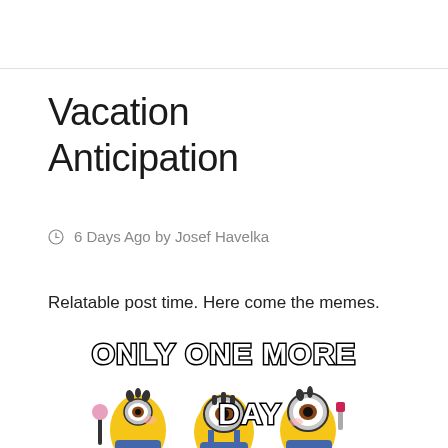Vacation Anticipation
⊙ 6 Days Ago by Josef Havelka
Relatable post time. Here come the memes.
[Figure (illustration): Minions meme image with bold outlined text reading 'ONLY ONE MORE DAY' with cartoon Minion characters below]